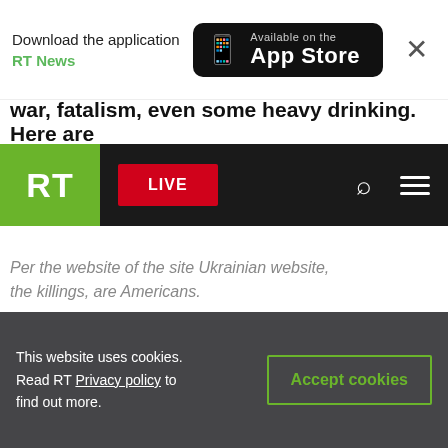[Figure (screenshot): App download banner with 'Download the application RT News' text and 'Available on the App Store' button, plus close X button]
war, fatalism, even some heavy drinking. Here are
[Figure (logo): RT News navigation bar with green RT logo, red LIVE button, search icon, and hamburger menu on black background]
Per the website of the site Ukrainian website, the killings, are Americans.
This website uses cookies. Read RT Privacy policy to find out more.
Accept cookies